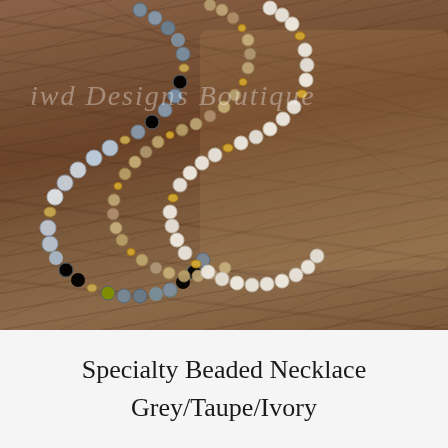[Figure (photo): Product photo of three beaded necklaces laid on a wooden surface. The necklaces feature grey/dark blue crystal beads, ivory/white beads, and taupe/golden beads with gold spacer beads. A faint watermark reads 'iwd Designs Boutique' in the background.]
Specialty Beaded Necklace Grey/Taupe/Ivory